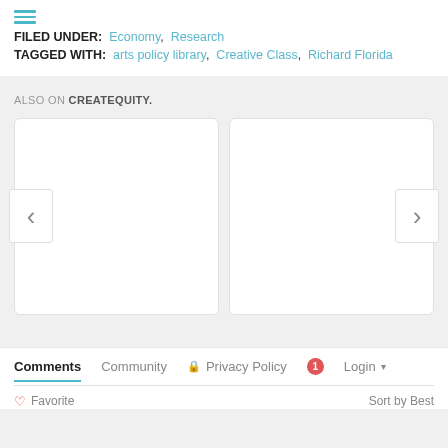FILED UNDER: Economy, Research
TAGGED WITH: arts policy library, Creative Class, Richard Florida
ALSO ON CREATEQUITY.
[Figure (screenshot): Two white cards side by side with left and right navigation arrows, content cards for 'Also on Createquity' section]
Comments | Community | Privacy Policy | 1 | Login
Favorite | Sort by Best